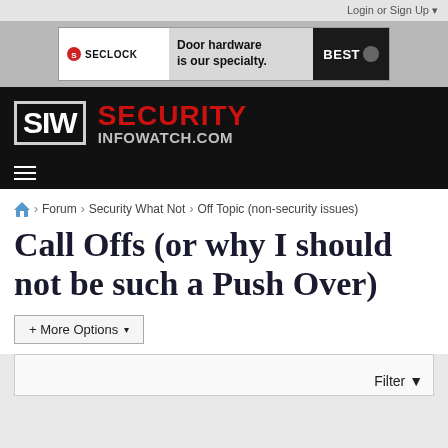Login or Sign Up ▾
[Figure (other): SECLOCK advertisement banner: Door hardware is our specialty. BEST logo.]
[Figure (logo): SIW Security InfoWatch.com logo — white SIW box and red SECURITY text on black background]
≡ (hamburger menu)
🏠 > Forum > Security What Not > Off Topic (non-security issues)
Call Offs (or why I should not be such a Push Over)
+ More Options ▾
Filter ▾